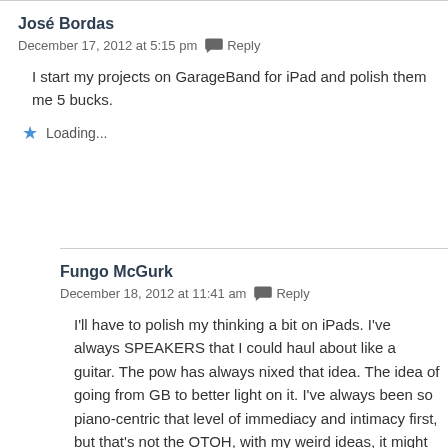José Bordas
December 17, 2012 at 5:15 pm   Reply
I start my projects on GarageBand for iPad and polish them me 5 bucks.
Loading...
Fungo McGurk
December 18, 2012 at 11:41 am   Reply
I'll have to polish my thinking a bit on iPads. I've always SPEAKERS that I could haul about like a guitar. The pow has always nixed that idea. The idea of going from GB to better light on it. I've always been so piano-centric that level of immediacy and intimacy first, but that's not the OTOH, with my weird ideas, it might do just as well to c whistle my inspirations into it and then sit down at hom usually do. I'm not yet satisfied with the horsepower of